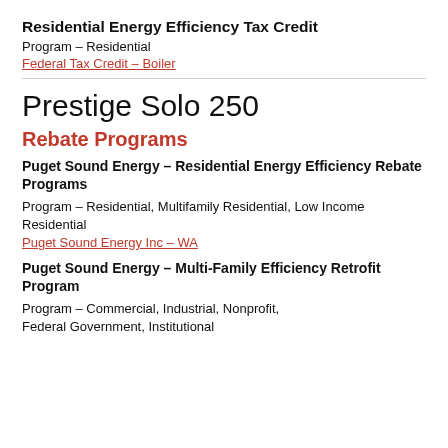Residential Energy Efficiency Tax Credit
Program – Residential
Federal Tax Credit – Boiler
Prestige Solo 250
Rebate Programs
Puget Sound Energy – Residential Energy Efficiency Rebate Programs
Program – Residential, Multifamily Residential, Low Income Residential
Puget Sound Energy Inc – WA
Puget Sound Energy – Multi-Family Efficiency Retrofit Program
Program – Commercial, Industrial, Nonprofit, Federal Government, Institutional